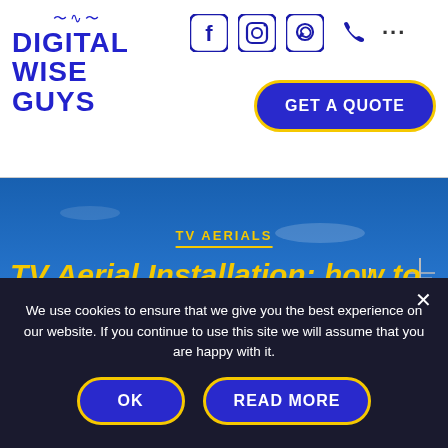[Figure (logo): Digital Wise Guys logo with wifi icon above text in bold blue uppercase letters]
[Figure (infographic): Social media icons: Facebook, Instagram, WhatsApp, Phone, and more (three dots)]
GET A QUOTE
[Figure (photo): Hero background image showing buildings against a blue sky with TV aerials]
TV AERIALS
TV Aerial Installation: how to get the best TV signal?
By Steve Millar   August 25 2020
We use cookies to ensure that we give you the best experience on our website. If you continue to use this site we will assume that you are happy with it.
OK
READ MORE